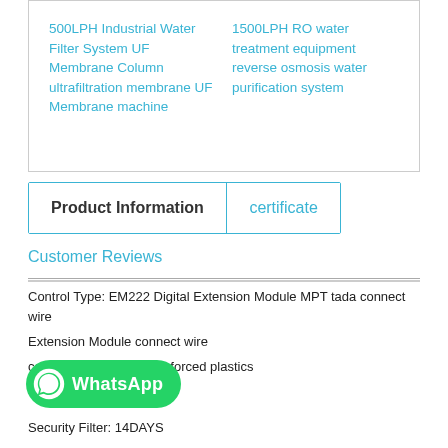500LPH Industrial Water Filter System UF Membrane Column ultrafiltration membrane UF Membrane machine
1500LPH RO water treatment equipment reverse osmosis water purification system
Product Information
certificate
Customer Reviews
Control Type: EM222 Digital Extension Module MPT tada connect wire
Extension Module connect wire
capacity: Glass fiber reinforced plastics
[Figure (logo): WhatsApp button with green background and WhatsApp logo]
Security Filter: 14DAYS